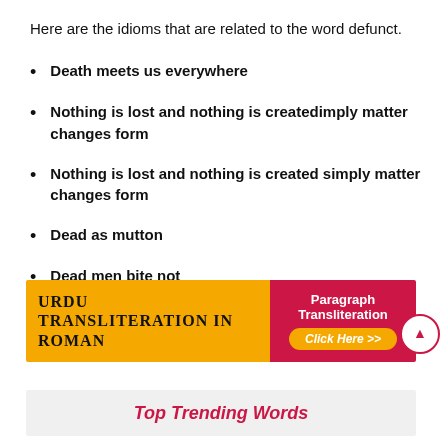Here are the idioms that are related to the word defunct.
Death meets us everywhere
Nothing is lost and nothing is createdimply matter changes form
Nothing is lost and nothing is created simply matter changes form
Dead as mutton
Dead men bite not
[Figure (infographic): Banner advertisement for Urdu Transliteration in Roman with orange left panel and red right panel containing Paragraph Transliteration Click Here >> button]
Top Trending Words